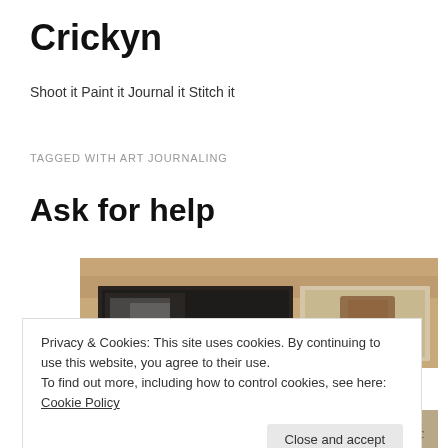Crickyn
Shoot it Paint it Journal it Stitch it
TAGGED WITH ART JOURNALING
Ask for help
[Figure (photo): Art journal spread showing dark textured mixed media pages with earthy brown tones and black painted areas]
Privacy & Cookies: This site uses cookies. By continuing to use this website, you agree to their use.
To find out more, including how to control cookies, see here: Cookie Policy
Close and accept
[Figure (photo): Partial view of another art journal spread at bottom of page]